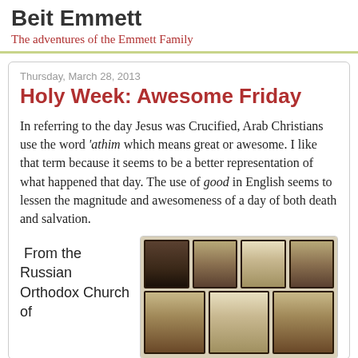Beit Emmett
The adventures of the Emmett Family
Thursday, March 28, 2013
Holy Week: Awesome Friday
In referring to the day Jesus was Crucified, Arab Christians use the word ‘athim which means great or awesome. I like that term because it seems to be a better representation of what happened that day. The use of good in English seems to lessen the magnitude and awesomeness of a day of both death and salvation.
From the Russian Orthodox Church of
[Figure (photo): Photograph of Russian Orthodox Church icons — multiple framed religious paintings arranged on a wall, showing scenes with figures, displayed in a grid of frames.]